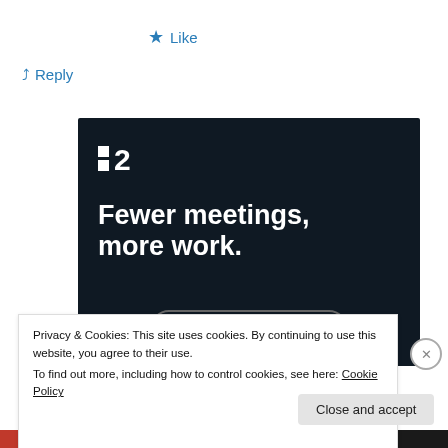★ Like
↵ Reply
[Figure (illustration): Dark-background advertisement for a project management tool (P2 logo). Headline reads 'Fewer meetings, more work.' with a 'Get started for free' call-to-action button.]
Privacy & Cookies: This site uses cookies. By continuing to use this website, you agree to their use.
To find out more, including how to control cookies, see here: Cookie Policy
Close and accept